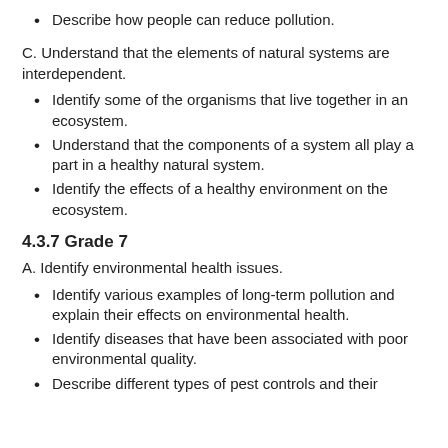Describe how people can reduce pollution.
C. Understand that the elements of natural systems are interdependent.
Identify some of the organisms that live together in an ecosystem.
Understand that the components of a system all play a part in a healthy natural system.
Identify the effects of a healthy environment on the ecosystem.
4.3.7 Grade 7
A. Identify environmental health issues.
Identify various examples of long-term pollution and explain their effects on environmental health.
Identify diseases that have been associated with poor environmental quality.
Describe different types of pest controls and their